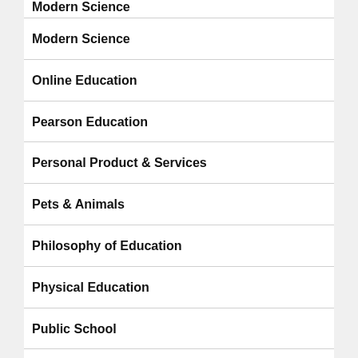Modern Science
Modern Science
Online Education
Pearson Education
Personal Product & Services
Pets & Animals
Philosophy of Education
Physical Education
Public School
Public School
Real T…